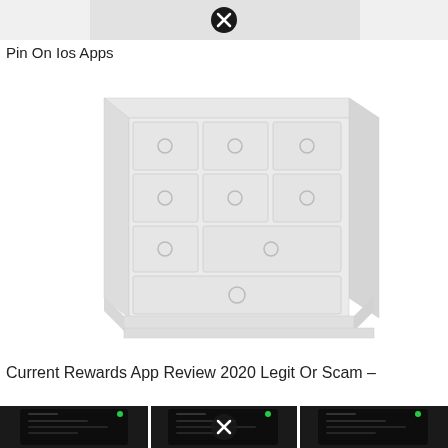[Figure (screenshot): Top bar with close/X button circle icon on grey background]
Pin On Ios Apps
[Figure (illustration): White dresser/chest of drawers illustration with circular drawer pulls, shown in a light blurry style]
Current Rewards App Review 2020 Legit Or Scam –
[Figure (screenshot): Three thumbnail images of smartphone screens against dark background, middle one has a close/X circle overlay]